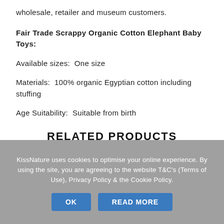wholesale, retailer and museum customers.
Fair Trade Scrappy Organic Cotton Elephant Baby Toys:
Available sizes:  One size
Materials:  100% organic Egyptian cotton including stuffing
Age Suitability:  Suitable from birth
RELATED PRODUCTS
KissNature uses cookies to optimise your online experience. By using the site, you are agreeing to the website T&C's (Terms of Use), Privacy Policy & the Cookie Policy.